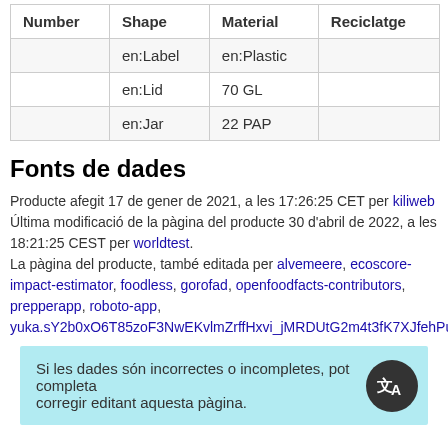| Number | Shape | Material | Reciclatge |
| --- | --- | --- | --- |
|  | en:Label | en:Plastic |  |
|  | en:Lid | 70 GL |  |
|  | en:Jar | 22 PAP |  |
Fonts de dades
Producte afegit 17 de gener de 2021, a les 17:26:25 CET per kiliweb
Última modificació de la pàgina del producte 30 d'abril de 2022, a les 18:21:25 CEST per worldtest.
La pàgina del producte, també editada per alvemeere, ecoscore-impact-estimator, foodless, gorofad, openfoodfacts-contributors, prepperapp, roboto-app,
yuka.sY2b0xO6T85zoF3NwEKvlmZrffHxvi_jMRDUtG2m4t3fK7XJfehPudChH
Si les dades són incorrectes o incompletes, pot completar o corregir editant aquesta pàgina.